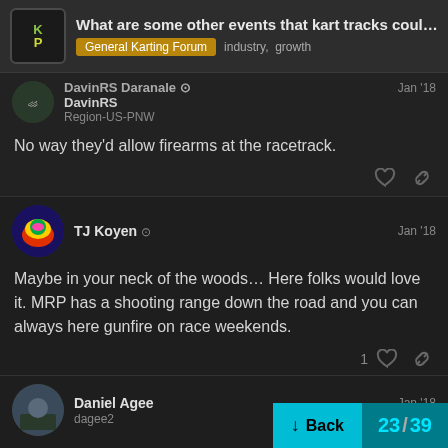What are some other events that kart tracks coul... | General Karting Forum | industry, growth
DavinRS
Region-US-PNW
No way they'd allow firearms at the racetrack.
TJ Koyen | Jan '18
Maybe in your neck of the woods… Here folks would love it. MRP has a shooting range down the road and you can always here gunfire on race weekends.
Daniel Agee
dagee2 | Jan '18